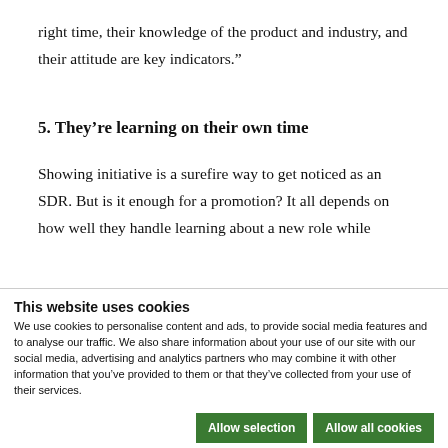right time, their knowledge of the product and industry, and their attitude are key indicators.”
5. They’re learning on their own time
Showing initiative is a surefire way to get noticed as an SDR. But is it enough for a promotion? It all depends on how well they handle learning about a new role while
This website uses cookies
We use cookies to personalise content and ads, to provide social media features and to analyse our traffic. We also share information about your use of our site with our social media, advertising and analytics partners who may combine it with other information that you’ve provided to them or that they’ve collected from your use of their services.
Allow selection   Allow all cookies
Necessary   Preferences   Statistics   Marketing   Show details